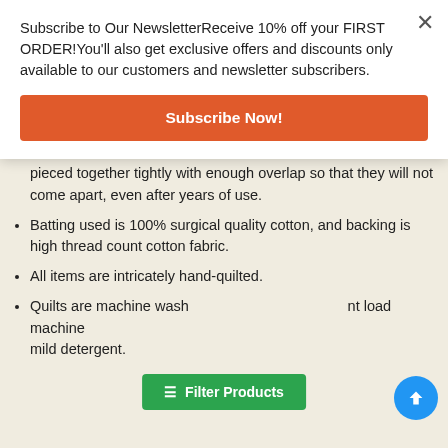Subscribe to Our NewsletterReceive 10% off your FIRST ORDER!You'll also get exclusive offers and discounts only available to our customers and newsletter subscribers.
Subscribe Now!
We make quilts meticulously giving special attention to all steps of quilt making.
Finest 100% cotton colorfast plaid fabrics are used.
Our Heirloom Quality Quilts have small patches which are pieced together tightly with enough overlap so that they will not come apart, even after years of use.
Batting used is 100% surgical quality cotton, and backing is high thread count cotton fabric.
All items are intricately hand-quilted.
Quilts are machine washable, front load machine mild detergent.
Filter Products